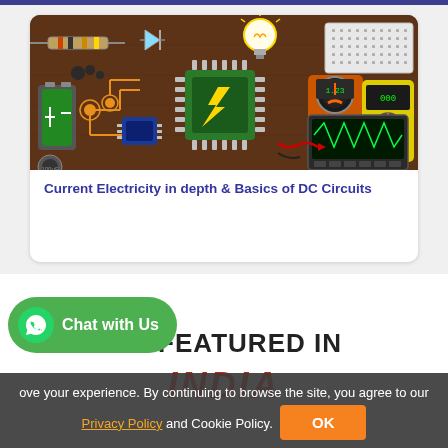[Figure (illustration): Electronics components illustration on dark brown background: circuit board, microchip with lightning bolt, light bulb, breadboard, multimeters, battery, LED, resistor, capacitor, wiring]
Current Electricity in depth & Basics of DC Circuits
WE FEATURED IN
INDIA
ove your experience. By continuing to browse the site, you agree to our Privacy Policy and Cookie Policy.
Chat with Us
OK